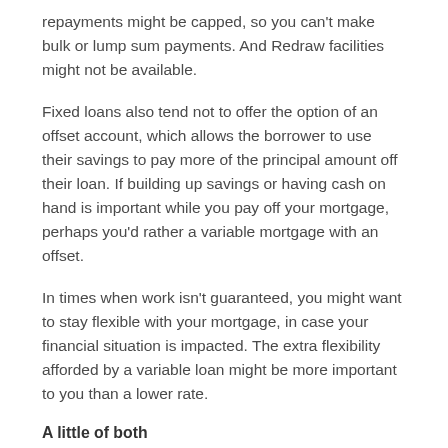repayments might be capped, so you can't make bulk or lump sum payments. And Redraw facilities might not be available.
Fixed loans also tend not to offer the option of an offset account, which allows the borrower to use their savings to pay more of the principal amount off their loan. If building up savings or having cash on hand is important while you pay off your mortgage, perhaps you'd rather a variable mortgage with an offset.
In times when work isn't guaranteed, you might want to stay flexible with your mortgage, in case your financial situation is impacted. The extra flexibility afforded by a variable loan might be more important to you than a lower rate.
A little of both
Many lenders offer the option to split your loan...